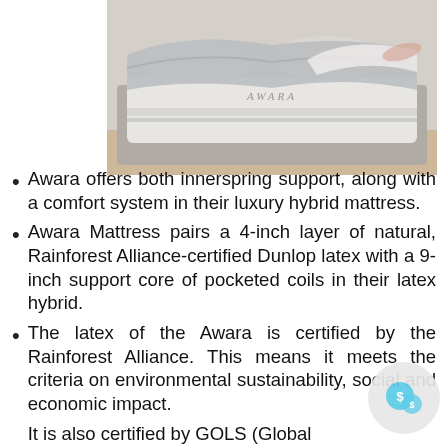[Figure (photo): Awara mattress on a bed frame with grey bedding and pillows, person lying on it partially visible, the mattress branding 'AWARA' visible on the side]
Awara offers both innerspring support, along with a comfort system in their luxury hybrid mattress.
Awara Mattress pairs a 4-inch layer of natural, Rainforest Alliance-certified Dunlop latex with a 9-inch support core of pocketed coils in their latex hybrid.
The latex of the Awara is certified by the Rainforest Alliance. This means it meets the criteria on environmental sustainability, social and economic impact.
It is also certified by GOLS (Global